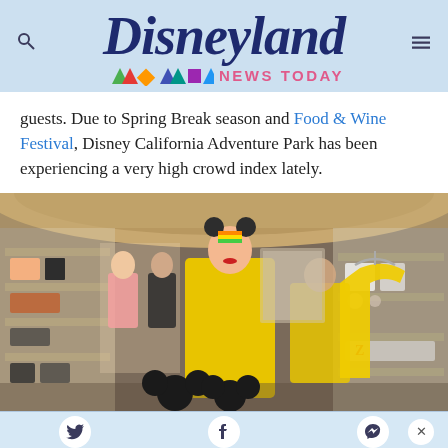Disneyland NEWS TODAY
guests. Due to Spring Break season and Food & Wine Festival, Disney California Adventure Park has been experiencing a very high crowd index lately.
[Figure (photo): Interior of a Disney merchandise store showing mannequins wearing yellow spirit jerseys, colorful rainbow Minnie ears, and clothing displayed on racks and shelves in a warmly lit shop.]
Social sharing footer with Twitter, Facebook, and Messenger icons